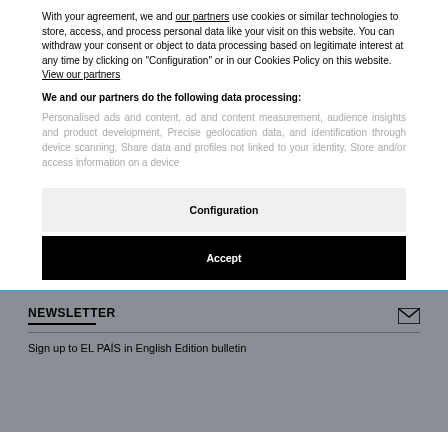With your agreement, we and our partners use cookies or similar technologies to store, access, and process personal data like your visit on this website. You can withdraw your consent or object to data processing based on legitimate interest at any time by clicking on "Configuration" or in our Cookies Policy on this website. View our partners
We and our partners do the following data processing:
Personalised ads and content, ad and content measurement, audience insights and product development, Precise geolocation data, and identification through device scanning, Share data and profiles not linked to your identity, Store and/or access information on a device
Configuration
Accept
NEWSLETTER
Sign up to EL PAÍS in English Edition bulletin